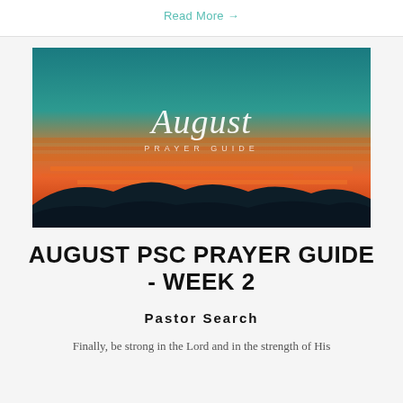Read More →
[Figure (illustration): Sunset landscape photo with teal/orange sky and silhouetted hills. Text overlay in script font reads 'August' with subtitle 'PRAYER GUIDE']
AUGUST PSC PRAYER GUIDE - WEEK 2
Pastor Search
Finally, be strong in the Lord and in the strength of His